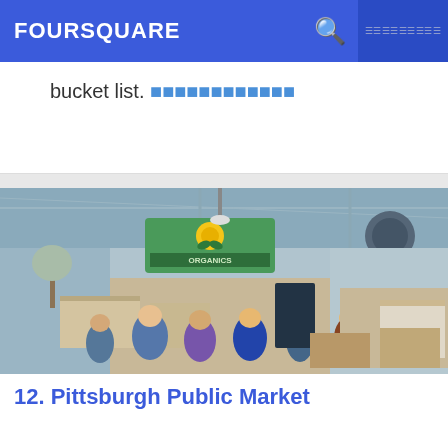FOURSQUARE
bucket list. ▪▪▪▪▪▪▪▪▪▪▪▪
[Figure (photo): Interior of Pittsburgh Public Market — a large indoor market hall with vendors, shoppers, and an 'Organics' sign with a sun logo visible overhead.]
12. Pittsburgh Public Market
2401 Penn Ave (btwn 24th & 25th Sts), ▪▪▪▪▪▪▪▪▪▪▪▪, PA
▪▪▪▪▪▪▪▪▪▪▪▪▪▪ · Strip District · 21 ▪▪▪▪▪▪▪▪▪▪▪▪▪▪▪▪▪▪▪▪▪
visitPA: Over 40+ food & crafts